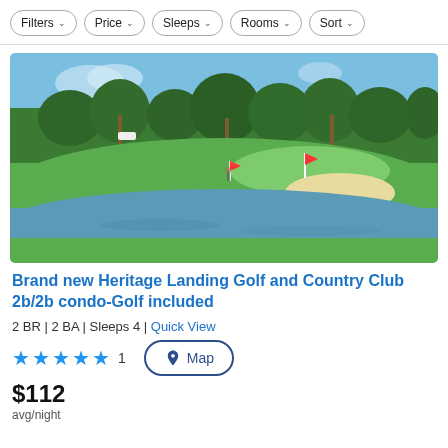Filters | Price | Sleeps | Rooms | Sort
[Figure (photo): Golf course with green fairway, sand bunker, water hazard/pond reflecting trees and blue sky, palm trees and dense tree line in background]
Brand new Heritage Landing Golf and Country Club 2b/2b condo-Golf included
2 BR | 2 BA | Sleeps 4 | Quick View
★★★★★ 1   Map
$112
avg/night